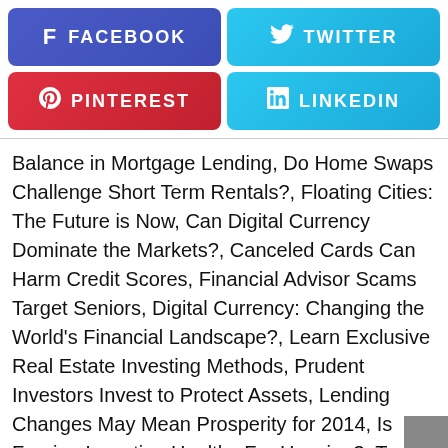[Figure (infographic): Four social media share buttons in a 2x2 grid: Facebook (purple/blue), Twitter (light blue), Pinterest (red), LinkedIn (light blue)]
Balance in Mortgage Lending, Do Home Swaps Challenge Short Term Rentals?, Floating Cities: The Future is Now, Can Digital Currency Dominate the Markets?, Canceled Cards Can Harm Credit Scores, Financial Advisor Scams Target Seniors, Digital Currency: Changing the World's Financial Landscape?, Learn Exclusive Real Estate Investing Methods, Prudent Investors Invest to Protect Assets, Lending Changes May Mean Prosperity for 2014, Is Foreign Investing Healthy For Housing?, Ten Words of Wisdom on Real Estate, The Coin: A Digital Wallet